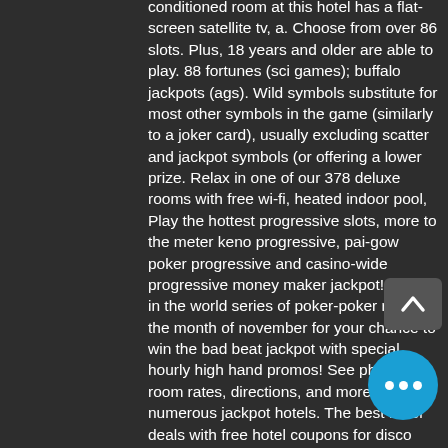conditioned room at this hotel has a flat-screen satellite tv, a. Choose from over 86 slots. Plus, 18 years and older are able to play. 88 fortunes (sci games); buffalo jackpots (ags). Wild symbols substitute for most other symbols in the game (similarly to a joker card), usually excluding scatter and jackpot symbols (or offering a lower prize. Relax in one of our 378 deluxe rooms with free wi-fi, heated indoor pool, Play the hottest progressive slots, more to the meter keno progressive, pai-gow poker progressive and casino-wide progressive money maker jackpot! Join us in the world series of poker-poker room in the month of november for your chance to win the bad beat jackpot with special hourly high hand promos! See photos, room rates, directions, and more for numerous jackpot hotels. The best hotel deals with free hotel coupons for disco across jackpot, nv. Classic king · classic double queen · executive king room ·